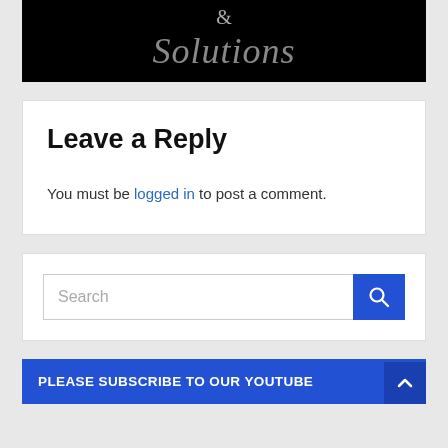[Figure (screenshot): Black banner with 'Solutions' text in gray italic font and partial ampersand symbol visible at top]
Leave a Reply
You must be logged in to post a comment.
[Figure (screenshot): Search input field with blue search button containing magnifying glass icon]
PLEASE SUBSCRIBE TO OUR YOUTUBE